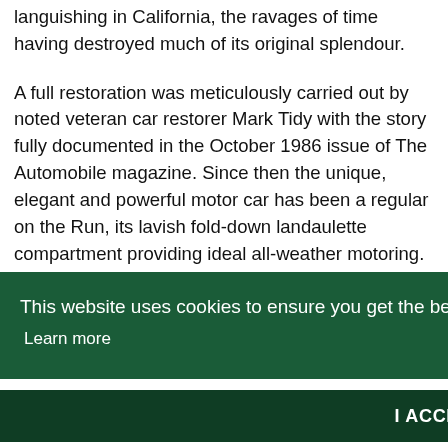languishing in California, the ravages of time having destroyed much of its original splendour.
A full restoration was meticulously carried out by noted veteran car restorer Mark Tidy with the story fully documented in the October 1986 issue of The Automobile magazine. Since then the unique, elegant and powerful motor car has been a regular on the Run, its lavish fold-down landaulette compartment providing ideal all-weather motoring.
This website uses cookies to ensure you get the best experience on our website. Learn more
I ACCEPT
spectators lining the route with its enthralling history.